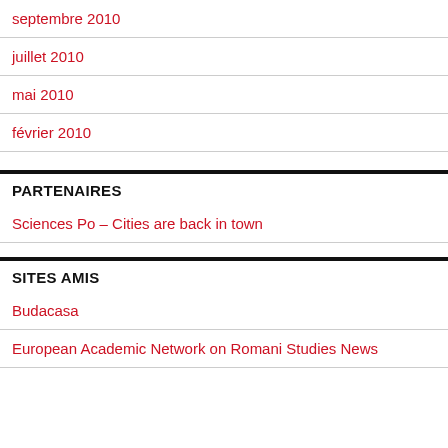septembre 2010
juillet 2010
mai 2010
février 2010
PARTENAIRES
Sciences Po – Cities are back in town
SITES AMIS
Budacasa
European Academic Network on Romani Studies News